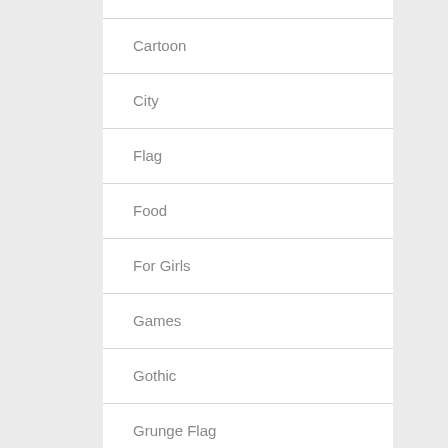Cartoon
City
Flag
Food
For Girls
Games
Gothic
Grunge Flag
Haute Couture